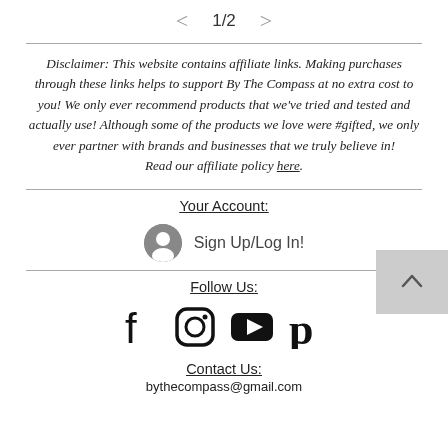< 1/2 >
Disclaimer: This website contains affiliate links. Making purchases through these links helps to support By The Compass at no extra cost to you! We only ever recommend products that we've tried and tested and actually use! Although some of the products we love were #gifted, we only ever partner with brands and businesses that we truly believe in! Read our affiliate policy here.
Your Account:
Sign Up/Log In!
Follow Us:
[Figure (illustration): Social media icons: Facebook, Instagram, YouTube, Pinterest]
Contact Us:
bythecompass@gmail.com